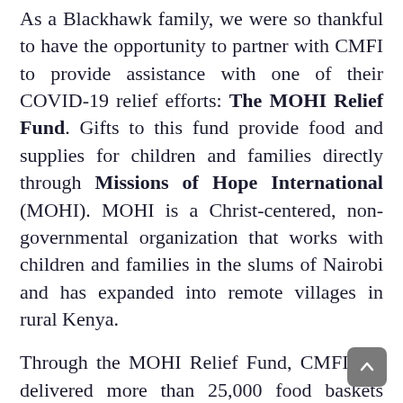As a Blackhawk family, we were so thankful to have the opportunity to partner with CMFI to provide assistance with one of their COVID-19 relief efforts: The MOHI Relief Fund. Gifts to this fund provide food and supplies for children and families directly through Missions of Hope International (MOHI). MOHI is a Christ-centered, non-governmental organization that works with children and families in the slums of Nairobi and has expanded into remote villages in rural Kenya.
Through the MOHI Relief Fund, CMFI has delivered more than 25,000 food baskets since April. Blackhawk Ministries was honored to join in this effort, sending $3,000 to Kenya to feed 100 families in need. What a blessing and a